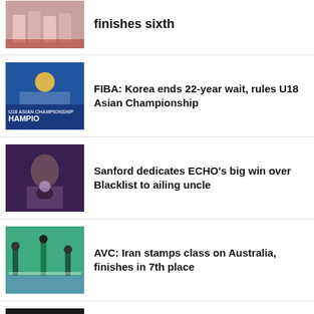[Figure (photo): Sports team photo, players in uniform]
finishes sixth
[Figure (photo): FIBA U18 Asian Championship celebration, team holding trophy with CHAMPIONS banner]
FIBA: Korea ends 22-year wait, rules U18 Asian Championship
[Figure (photo): Person looking at phone, gaming/esports context]
Sanford dedicates ECHO's big win over Blacklist to ailing uncle
[Figure (photo): Volleyball match, Iran vs Australia players on court]
AVC: Iran stamps class on Australia, finishes in 7th place
[Figure (photo): Athlete with hands on head, dark background]
The Short Corner: Breaking down Jordan Clarkson's offense in his